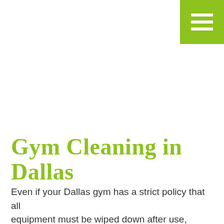[Figure (other): Green hamburger menu button in top-right corner with three white horizontal bars on olive/yellow-green background]
Gym Cleaning in Dallas
Even if your Dallas gym has a strict policy that all equipment must be wiped down after use, there's no